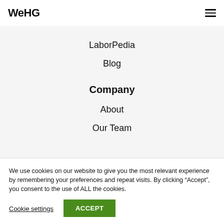WeHG
LaborPedia
Blog
Company
About
Our Team
We use cookies on our website to give you the most relevant experience by remembering your preferences and repeat visits. By clicking “Accept”, you consent to the use of ALL the cookies.
Cookie settings
ACCEPT